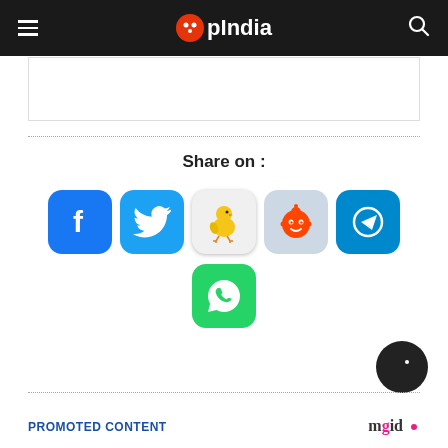OpIndia
[Figure (screenshot): Partial content box at top of page]
Share on :
[Figure (infographic): Social media sharing icons: Facebook, Twitter, Koo, Reddit, Telegram, WhatsApp]
[Figure (other): Dark mode toggle button (black circle with crescent moon icon)]
PROMOTED CONTENT   mgid